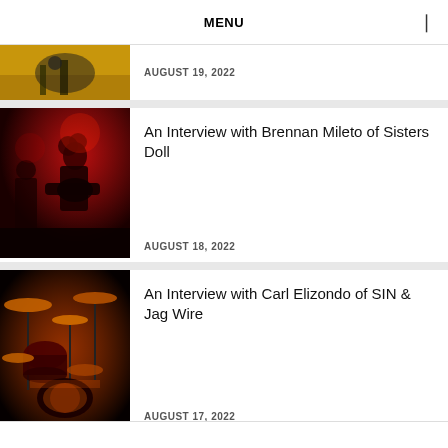MENU
AUGUST 19, 2022
An Interview with Brennan Mileto of Sisters Doll
AUGUST 18, 2022
An Interview with Carl Elizondo of SIN & Jag Wire
AUGUST 17, 2022